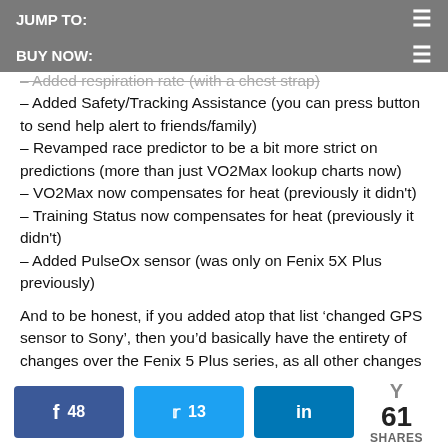JUMP TO:
BUY NOW:
– Added respiration rate (with a chest strap)
– Added Safety/Tracking Assistance (you can press button to send help alert to friends/family)
– Revamped race predictor to be a bit more strict on predictions (more than just VO2Max lookup charts now)
– VO2Max now compensates for heat (previously it didn't)
– Training Status now compensates for heat (previously it didn't)
– Added PulseOx sensor (was only on Fenix 5X Plus previously)
And to be honest, if you added atop that list ‘changed GPS sensor to Sony’, then you’d basically have the entirety of changes over the Fenix 5 Plus series, as all other changes in the MARQ are specific to materials and more cosmetic in nature. Ultimately, if you distill this entire review down – the only difference between a MARQ Athlete and a far cheaper (and plastic) Forerunner 945 is materials (and battery life, which is more on the FR945). All the sport-focused software features are identical except it does have a few additional modes like Jumpmaster and Tactical, which harken from the earlier Fenix/Tactix days.